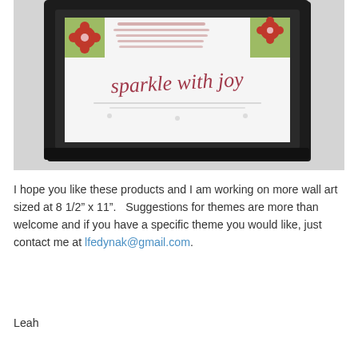[Figure (photo): A framed decorative wall art print in a black frame. The print features the phrase 'sparkle with joy' in cursive script, with floral decorations in red and green on a white background.]
I hope you like these products and I am working on more wall art sized at 8 1/2" x 11".   Suggestions for themes are more than welcome and if you have a specific theme you would like, just contact me at lfedynak@gmail.com.
Leah